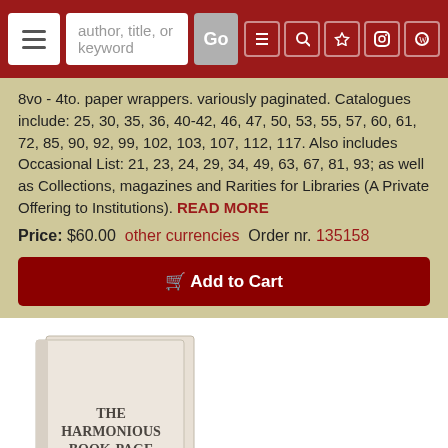author, title, or keyword | Go
8vo - 4to. paper wrappers. variously paginated. Catalogues include: 25, 30, 35, 36, 40-42, 46, 47, 50, 53, 55, 57, 60, 61, 72, 85, 90, 92, 99, 102, 103, 107, 112, 117. Also includes Occasional List: 21, 23, 24, 29, 34, 49, 63, 67, 81, 93; as well as Collections, magazines and Rarities for Libraries (A Private Offering to Institutions). READ MORE
Price: $60.00  other currencies  Order nr. 135158
[Figure (screenshot): Add to Cart button, dark red background with shopping cart icon]
[Figure (photo): Photo of a book titled 'The Harmonious Book-Page: An Exhibition Held at Art Centre December 16 to January 17 1933-1934']